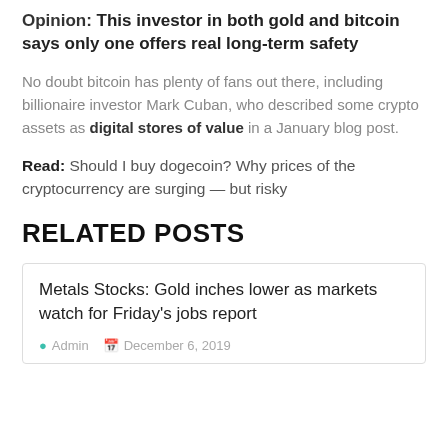Opinion: This investor in both gold and bitcoin says only one offers real long-term safety
No doubt bitcoin has plenty of fans out there, including billionaire investor Mark Cuban, who described some crypto assets as digital stores of value in a January blog post.
Read: Should I buy dogecoin? Why prices of the cryptocurrency are surging — but risky
RELATED POSTS
Metals Stocks: Gold inches lower as markets watch for Friday's jobs report
Admin   December 6, 2019